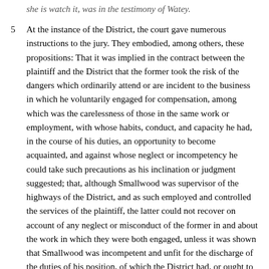she is watch it, was in the testimony of Watey.
5  At the instance of the District, the court gave numerous instructions to the jury. They embodied, among others, these propositions: That it was implied in the contract between the plaintiff and the District that the former took the risk of the dangers which ordinarily attend or are incident to the business in which he voluntarily engaged for compensation, among which was the carelessness of those in the same work or employment, with whose habits, conduct, and capacity he had, in the course of his duties, an opportunity to become acquainted, and against whose neglect or incompetency he could take such precautions as his inclination or judgment suggested; that, although Smallwood was supervisor of the highways of the District, and as such employed and controlled the services of the plaintiff, the latter could not recover on account of any neglect or misconduct of the former in and about the work in which they were both engaged, unless it was shown that Smallwood was incompetent and unfit for the discharge of the duties of his position, of which the District had, or ought to have had, knowledge; that in contemplation of law the plaintiff took upon himself the risk arising from the negligence of his fellow-workmen, including Smallwood; and that if the plaintiff, believing that the gravel-bed was in such condition as to make it dangerous for him to continue work there without some one being